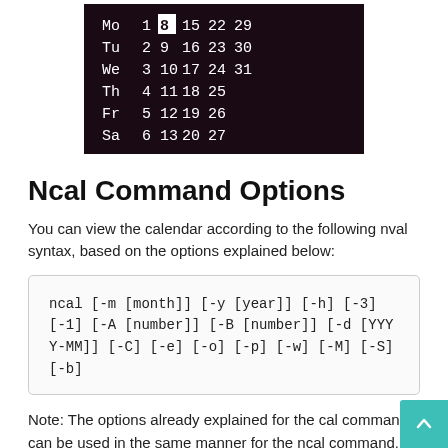[Figure (screenshot): Terminal/ncal calendar output showing a dark-background calendar with days Mo Tu We Th Fr Sa and dates 1-31, with date 8 highlighted in a box.]
Ncal Command Options
You can view the calendar according to the following nval syntax, based on the options explained below:
ncal [-m [month]] [-y [year]] [-h] [-3] [-1] [-A [number]] [-B [number]] [-d [YYYY-MM]] [-C] [-e] [-o] [-p] [-w] [-M] [-S] [-b]
Note: The options already explained for the cal command can be used in the same manner for the ncal command.